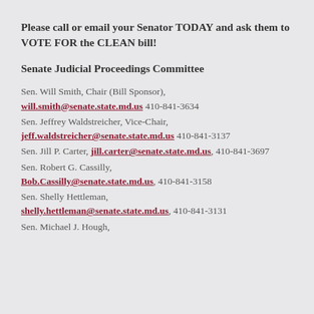Please call or email your Senator TODAY and ask them to VOTE FOR the CLEAN bill!
Senate Judicial Proceedings Committee
Sen. Will Smith, Chair (Bill Sponsor), will.smith@senate.state.md.us 410-841-3634
Sen. Jeffrey Waldstreicher, Vice-Chair, jeff.waldstreicher@senate.state.md.us 410-841-3137
Sen. Jill P. Carter, jill.carter@senate.state.md.us, 410-841-3697
Sen. Robert G. Cassilly, Bob.Cassilly@senate.state.md.us, 410-841-3158
Sen. Shelly Hettleman, shelly.hettleman@senate.state.md.us, 410-841-3131
Sen. Michael J. Hough,